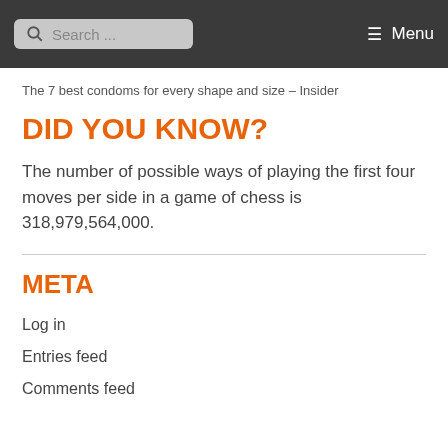Search ... Menu
The 7 best condoms for every shape and size – Insider
DID YOU KNOW?
The number of possible ways of playing the first four moves per side in a game of chess is 318,979,564,000.
META
Log in
Entries feed
Comments feed